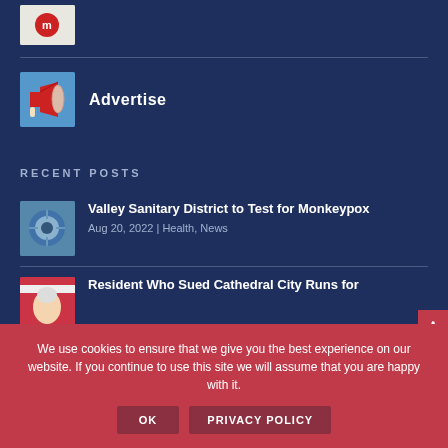[Figure (photo): Small thumbnail image at top, partially visible, showing a logo or icon on white background]
[Figure (photo): Advertise section with megaphone/bullhorn image thumbnail]
Advertise
RECENT POSTS
[Figure (photo): Thumbnail image of a drain/water for Valley Sanitary District article]
Valley Sanitary District to Test for Monkeypox
Aug 20, 2022 | Health, News
[Figure (photo): Thumbnail image of a person (partial, shows head with American flag background) for Cathedral City article]
Resident Who Sued Cathedral City Runs for
We use cookies to ensure that we give you the best experience on our website. If you continue to use this site we will assume that you are happy with it.
OK
PRIVACY POLICY